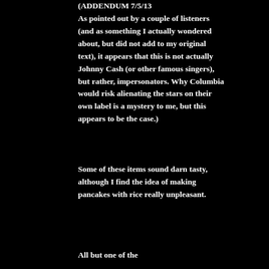(ADDENDUM 7/5/13 As pointed out by a couple of listeners (and as something I actually wondered about, but did not add to my original text), it appears that this is not actually Johnny Cash (or other famous singers), but rather, impersonators. Why Columbia would risk alienating the stars on their own label is a mystery to me, but this appears to be the case.)
Some of these items sound darn tasty, although I find the idea of making pancakes with rice really unpleasant.
All but one of the